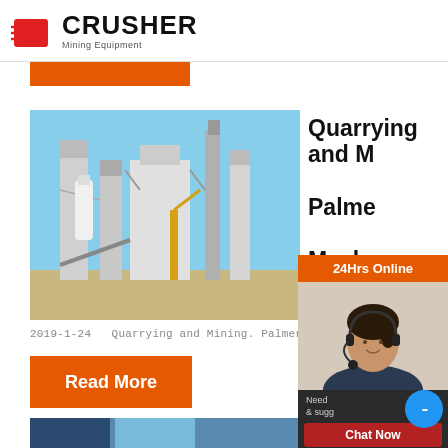CRUSHER Mining Equipment
[Figure (photo): Industrial mining/crushing plant with tall silos and metal structures against blue sky]
Quarrying and Mining. Palmers Mecha
2019-1-24   Quarrying and Mining. Palmers Me
Read More
[Figure (photo): 24Hrs Online support - woman with headset]
Need & suggestions
Chat Now
Enquiry
limingjlmofen@sina.com
MINING AND